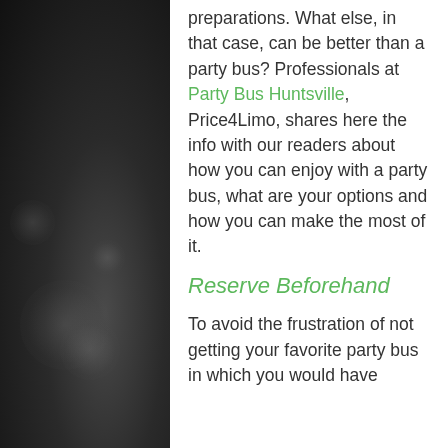preparations. What else, in that case, can be better than a party bus? Professionals at Party Bus Huntsville, Price4Limo, shares here the info with our readers about how you can enjoy with a party bus, what are your options and how you can make the most of it.
Reserve Beforehand
To avoid the frustration of not getting your favorite party bus in which you would have